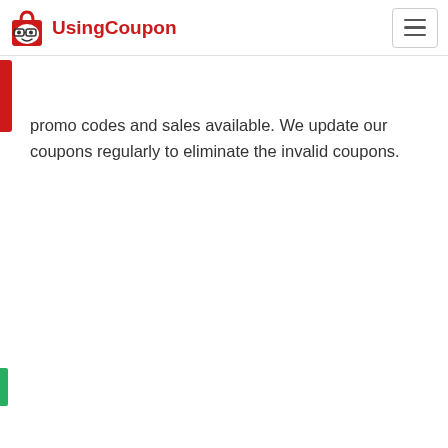UsingCoupon
promo codes and sales available. We update our coupons regularly to eliminate the invalid coupons.